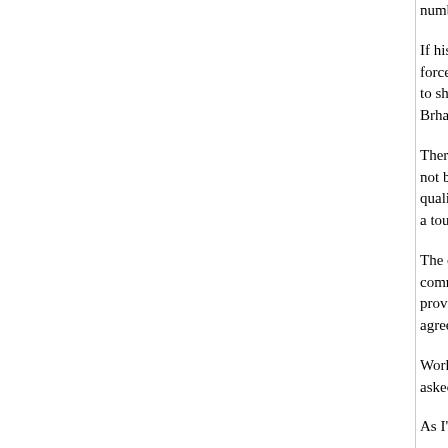number looks like a serious underestimate - or 'm' in Bush's favourite terms.
If history is any guide, other extensive, long lasting interventions here have started with small forces doing what's expected of them. The Soviets who had 10 would have needed 500,000 to 700,000 to shut the people from moving in and out of the country. The here is less than 20,000. I hope Mr Brhaimi knows
There have also been two changes in provincial g lead to further trouble. The governor of Qandahar not being popular in the province has had his pos Planning, Mohammad Yousof Pashtun. I know no qualifications for urban planning, but perhaps he urban planning it taking place. The former ministe a tough job running a province that was the Talib
The other provincial move is the government's an Herat, Isamil Khan, will no longer be the comman could lead to a confrontation, unless an agreemer recent visits to Herat during which the province ha most advanced, and compliments have been paid Ismail Khan himself had signed an agreement a government officials could hold only one post.
Work continues pretty well. A new course at televi and television producers who have been on the s asked for discussions on news writing and progra into a much focused workshop.
As I've said several times in these notes, people